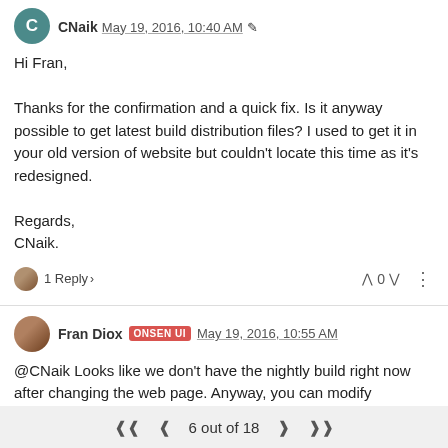CNaik May 19, 2016, 10:40 AM
Hi Fran,

Thanks for the confirmation and a quick fix. Is it anyway possible to get latest build distribution files? I used to get it in your old version of website but couldn't locate this time as it's redesigned.

Regards,
CNaik.
1 Reply > | ^ 0 v | :
Fran Diox ONSEN UI May 19, 2016, 10:55 AM
@CNaik Looks like we don't have the nightly build right now after changing the web page. Anyway, you can modify onsenui.js rc.5 with this last commit. I think it's in line 15878 .
Replace _this3.name with _this3.pages[index].name and it will probably work :)
6 out of 18